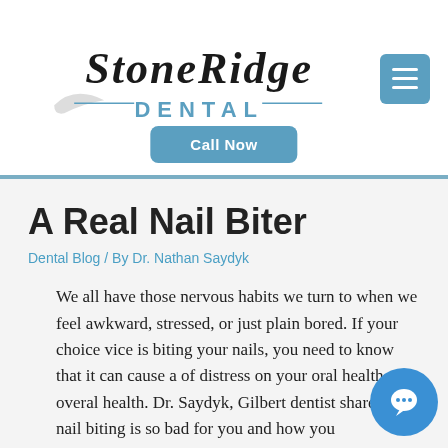[Figure (logo): StoneRidge Dental logo with stylized serif text and teal 'DENTAL' subtitle]
[Figure (other): Teal hamburger menu button with three horizontal white lines]
Call Now
A Real Nail Biter
Dental Blog / By Dr. Nathan Saydyk
We all have those nervous habits we turn to when we feel awkward, stressed, or just plain bored. If your choice vice is biting your nails, you need to know that it can cause a of distress on your oral health and overal health. Dr. Saydyk, Gilbert dentist shares why nail biting is so bad for you and how you
[Figure (other): Blue circular chat/comment bubble icon button]